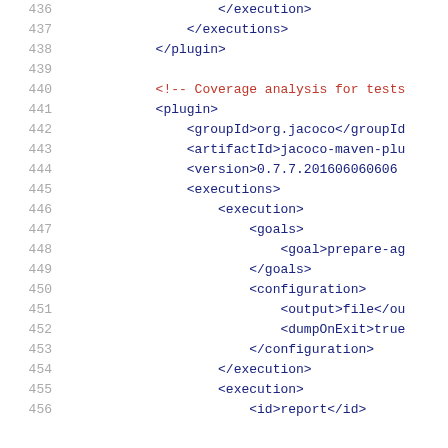436    </execution>
437    </executions>
438    </plugin>
439
440    <!-- Coverage analysis for tests -->
441    <plugin>
442        <groupId>org.jacoco</groupId>
443        <artifactId>jacoco-maven-plugin>
444        <version>0.7.7.201606060606
445        <executions>
446            <execution>
447                <goals>
448                    <goal>prepare-agent>
449                </goals>
450                <configuration>
451                    <output>file</output>
452                    <dumpOnExit>true
453                </configuration>
454            </execution>
455            <execution>
456                <id>report</id>